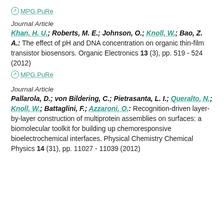MPG.PuRe
Journal Article
Khan, H. U.; Roberts, M. E.; Johnson, O.; Knoll, W.; Bao, Z. A.: The effect of pH and DNA concentration on organic thin-film transistor biosensors. Organic Electronics 13 (3), pp. 519 - 524 (2012)
MPG.PuRe
Journal Article
Pallarola, D.; von Bildering, C.; Pietrasanta, L. I.; Queralto, N.; Knoll, W.; Battaglini, F.; Azzaroni, O.: Recognition-driven layer-by-layer construction of multiprotein assemblies on surfaces: a biomolecular toolkit for building up chemoresponsive bioelectrochemical interfaces. Physical Chemistry Chemical Physics 14 (31), pp. 11027 - 11039 (2012)